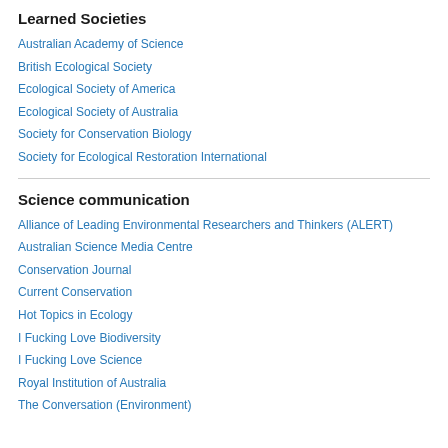Learned Societies
Australian Academy of Science
British Ecological Society
Ecological Society of America
Ecological Society of Australia
Society for Conservation Biology
Society for Ecological Restoration International
Science communication
Alliance of Leading Environmental Researchers and Thinkers (ALERT)
Australian Science Media Centre
Conservation Journal
Current Conservation
Hot Topics in Ecology
I Fucking Love Biodiversity
I Fucking Love Science
Royal Institution of Australia
The Conversation (Environment)